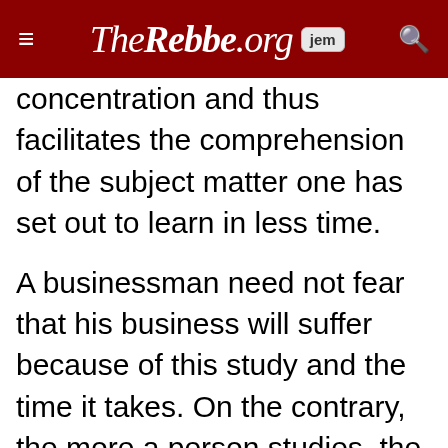TheRebbe.org [jem]
concentration and thus facilitates the comprehension of the subject matter one has set out to learn in less time.
A businessman need not fear that his business will suffer because of this study and the time it takes. On the contrary, the more a person studies, the more will he be successful because he will be able to grasp the nature of a situation and make decisions much faster than one who has not studied Torah. Furthermore, he will not feel hindered by personal problems or worries and will be able to function with true peace of mind. In simple terms, the more minutes he invests in Torah